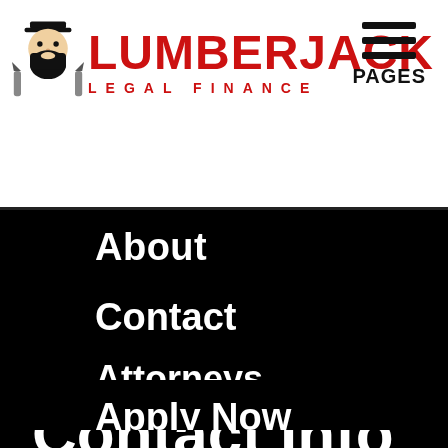[Figure (logo): Lumberjack Legal Finance logo with lumberjack face icon on left, red bold LUMBERJACK text, and red LEGAL FINANCE subtitle]
PAGES
About
Contact
Attorneys
Apply Now
Contact Info